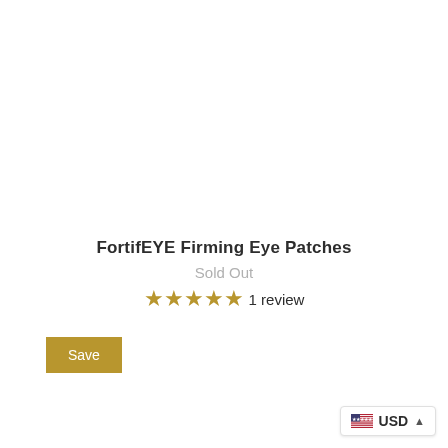FortifEYE Firming Eye Patches
Sold Out
★★★★★ 1 review
Save
USD